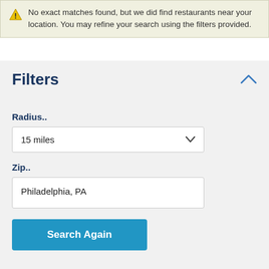No exact matches found, but we did find restaurants near your location. You may refine your search using the filters provided.
Filters
Radius..
15 miles
Zip..
Philadelphia, PA
Search Again